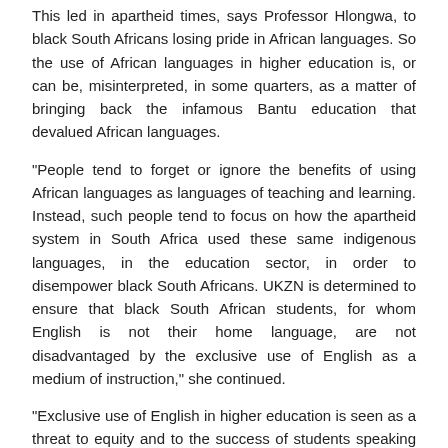This led in apartheid times, says Professor Hlongwa, to black South Africans losing pride in African languages. So the use of African languages in higher education is, or can be, misinterpreted, in some quarters, as a matter of bringing back the infamous Bantu education that devalued African languages.
"People tend to forget or ignore the benefits of using African languages as languages of teaching and learning. Instead, such people tend to focus on how the apartheid system in South Africa used these same indigenous languages, in the education sector, in order to disempower black South Africans. UKZN is determined to ensure that black South African students, for whom English is not their home language, are not disadvantaged by the exclusive use of English as a medium of instruction," she continued.
"Exclusive use of English in higher education is seen as a threat to equity and to the success of students speaking languages other than English – those who have gained physical access to higher education but not 'epistemic' access."
In a report written by the Ministerial Advisory Panel on the teaching of African languages in application that was published in 2015, epistemic access is generally understood as access to the conceptual platform from which the learner is able to construct new knowledge from pre-